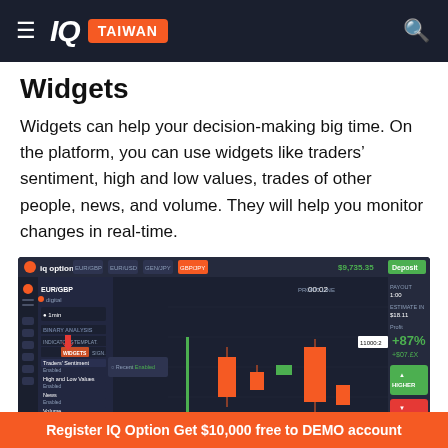IQ TAIWAN
Widgets
Widgets can help your decision-making big time. On the platform, you can use widgets like traders' sentiment, high and low values, trades of other people, news, and volume. They will help you monitor changes in real-time.
[Figure (screenshot): IQ Option trading platform screenshot showing the Widgets panel with options including Traders' Sentiment, High and Low Values, News, and Volume. A candlestick chart is visible with orange/green candles and a red arrow pointing to the Widgets tab.]
Register IQ Option Get $10,000 free to DEMO account